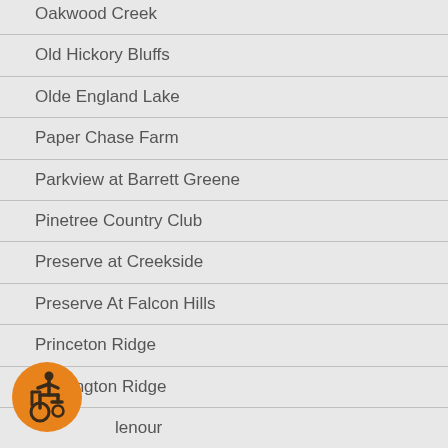Oakwood Creek
Old Hickory Bluffs
Olde England Lake
Paper Chase Farm
Parkview at Barrett Greene
Pinetree Country Club
Preserve at Creekside
Preserve At Falcon Hills
Princeton Ridge
Remington Ridge
Slenour
Saddlebrook Farms
[Figure (illustration): Orange circular accessibility icon with wheelchair user symbol]